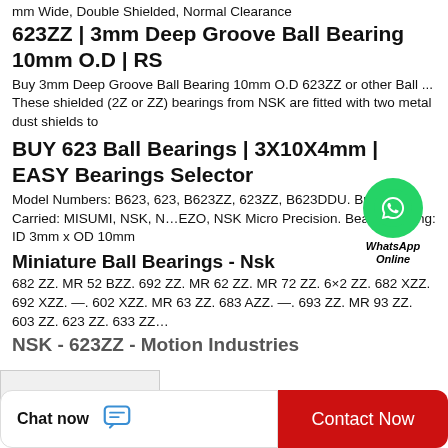mm Wide, Double Shielded, Normal Clearance
623ZZ | 3mm Deep Groove Ball Bearing 10mm O.D | RS
Buy 3mm Deep Groove Ball Bearing 10mm O.D 623ZZ or other Ball ... These shielded (2Z or ZZ) bearings from NSK are fitted with two metal dust shields to
BUY 623 Ball Bearings | 3X10X4mm | EASY Bearings Selector
Model Numbers: B623, 623, B623ZZ, 623ZZ, B623DDU. Brands Carried: MISUMI, NSK, N... EZO, NSK Micro Precision. Bearing Sizing: ID 3mm x OD 10mm
Miniature Ball Bearings - Nsk
682 ZZ. MR 52 BZZ. 692 ZZ. MR 62 ZZ. MR 72 ZZ. 6×2 ZZ. 682 XZZ. 692 XZZ. —. 602 XZZ. MR 63 ZZ. 683 AZZ. —. 693 ZZ. MR 93 ZZ. 603 ZZ. 623 ZZ. 633 ZZ...
NSK - 623ZZ - Motion Industries
[Figure (other): WhatsApp Online contact bubble with green circle and phone icon, labeled WhatsApp Online]
Chat now
Contact Now